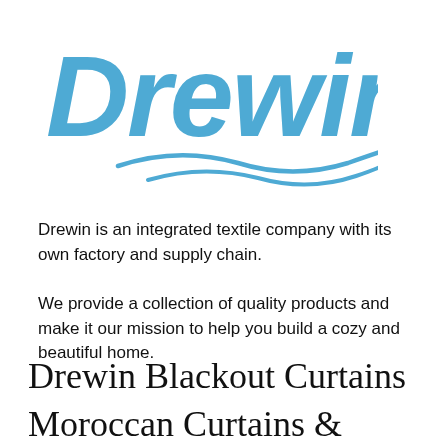[Figure (logo): Drewin company logo — large blue italic 'Drewin' text with two curved wave lines beneath it in the same blue color]
Drewin is an integrated textile company with its own factory and supply chain.
We provide a collection of quality products and make it our mission to help you build a cozy and beautiful home.
Drewin Blackout Curtains
Moroccan Curtains &